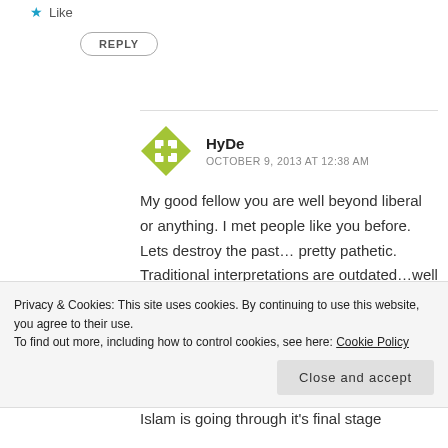★ Like
REPLY
HyDe
OCTOBER 9, 2013 AT 12:38 AM
My good fellow you are well beyond liberal or anything. I met people like you before. Lets destroy the past... pretty pathetic. Traditional interpretations are outdated...well Islam is going through it's final stage
Privacy & Cookies: This site uses cookies. By continuing to use this website, you agree to their use.
To find out more, including how to control cookies, see here: Cookie Policy
Close and accept